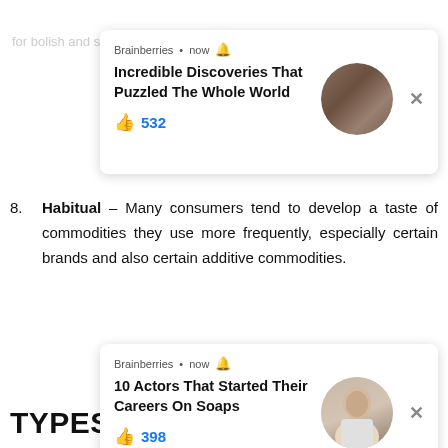[Figure (screenshot): Ad card from Brainberries: 'Incredible Discoveries That Puzzled The Whole World' with 532 likes and circular brick texture image]
[Figure (screenshot): Ad card from Brainberries: '10 Actors That Started Their Careers On Soaps' with 398 likes and circular person image]
8. Habitual – Many consumers tend to develop a taste of commodities they use more frequently, especially certain brands and also certain addictive commodities.
TYPES OF HUMAN WANTS